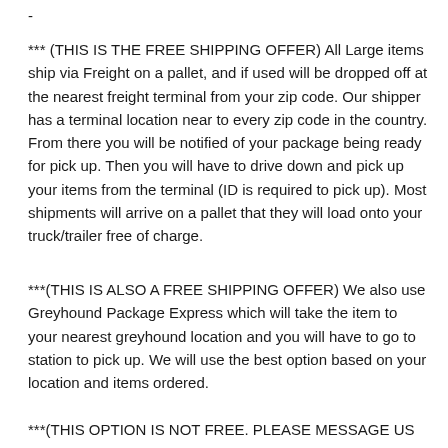-
*** (THIS IS THE FREE SHIPPING OFFER) All Large items ship via Freight on a pallet, and if used will be dropped off at the nearest freight terminal from your zip code. Our shipper has a terminal location near to every zip code in the country. From there you will be notified of your package being ready for pick up. Then you will have to drive down and pick up your items from the terminal (ID is required to pick up). Most shipments will arrive on a pallet that they will load onto your truck/trailer free of charge.
***(THIS IS ALSO A FREE SHIPPING OFFER) We also use Greyhound Package Express which will take the item to your nearest greyhound location and you will have to go to station to pick up. We will use the best option based on your location and items ordered.
***(THIS OPTION IS NOT FREE. PLEASE MESSAGE US FOR